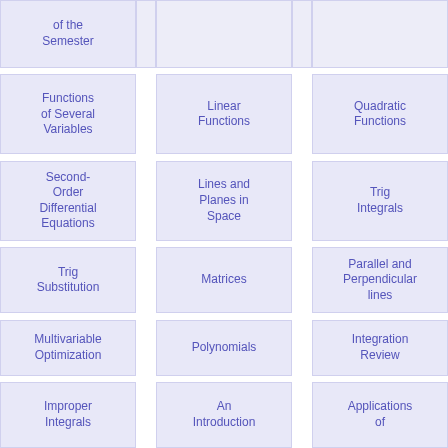of the Semester
Functions of Several Variables
Linear Functions
Quadratic Functions
Second-Order Differential Equations
Lines and Planes in Space
Trig Integrals
Trig Substitution
Matrices
Parallel and Perpendicular lines
Multivariable Optimization
Polynomials
Integration Review
Improper Integrals
An Introduction
Applications of